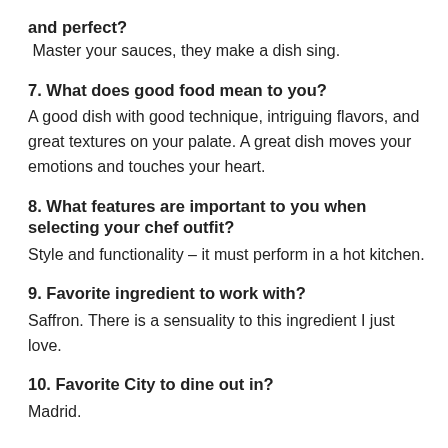and perfect?
Master your sauces, they make a dish sing.
7. What does good food mean to you?
A good dish with good technique, intriguing flavors, and great textures on your palate. A great dish moves your emotions and touches your heart.
8. What features are important to you when selecting your chef outfit?
Style and functionality – it must perform in a hot kitchen.
9. Favorite ingredient to work with?
Saffron. There is a sensuality to this ingredient I just love.
10. Favorite City to dine out in?
Madrid.